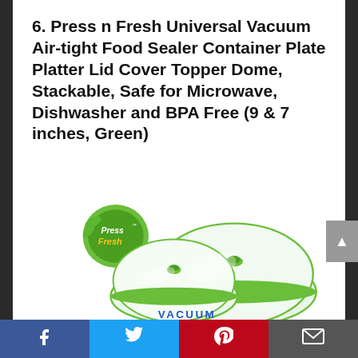6. Press n Fresh Universal Vacuum Air-tight Food Sealer Container Plate Platter Lid Cover Topper Dome, Stackable, Safe for Microwave, Dishwasher and BPA Free (9 & 7 inches, Green)
[Figure (photo): Product photo showing two green and clear Press n Fresh vacuum seal dome lids stacked, with the Press n Fresh logo visible in the upper left. The word VACUUM is partially visible at the bottom.]
Facebook | Twitter | Pinterest | Email (social share bar)